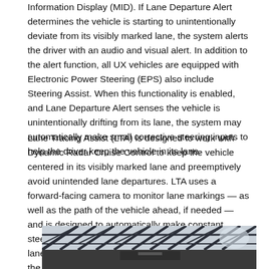Information Display (MID). If Lane Departure Alert determines the vehicle is starting to unintentionally deviate from its visibly marked lane, the system alerts the driver with an audio and visual alert. In addition to the alert function, all UX vehicles are equipped with Electronic Power Steering (EPS) also include Steering Assist. When this functionality is enabled, and Lane Departure Alert senses the vehicle is unintentionally drifting from its lane, the system may automatically make small corrective steering inputs to help the driver keep the vehicle in its lane.
Lane Tracing Assist (LTA) is designed to work with Dynamic Radar Cruise Control to keep the vehicle centered in its visibly marked lane and preemptively avoid unintended lane departures. LTA uses a forward-facing camera to monitor lane markings — as well as the path of the vehicle ahead, if needed — and is designed to automatically make constant steering inputs to help keep the vehicle centered in its lane. LTA does require the driver's hands to remain on the steering wheel.
[Figure (photo): Photo of a vehicle driving under a steel bridge/truss structure, viewed from a low angle showing the metal lattice framework overhead and road surface below.]